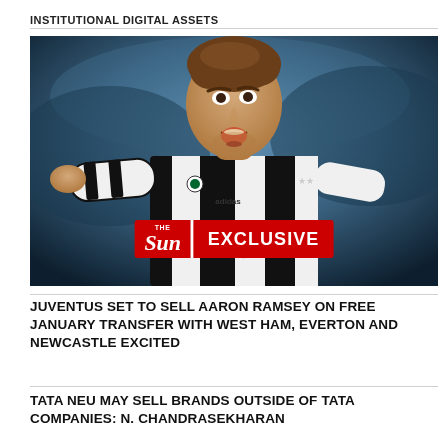INSTITUTIONAL DIGITAL ASSETS
[Figure (photo): A footballer wearing a Juventus black and white striped kit with an open mouth expression, overlaid with The Sun EXCLUSIVE badge in red]
JUVENTUS SET TO SELL AARON RAMSEY ON FREE JANUARY TRANSFER WITH WEST HAM, EVERTON AND NEWCASTLE EXCITED
TATA NEU MAY SELL BRANDS OUTSIDE OF TATA COMPANIES: N. CHANDRASEKHARAN